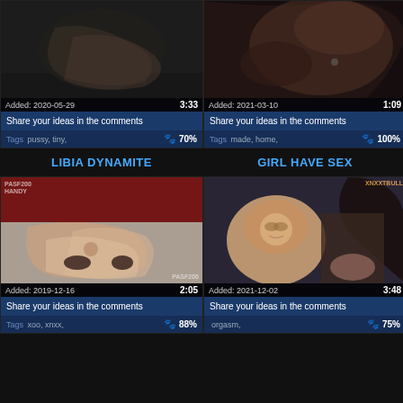[Figure (screenshot): Video thumbnail dark/black tones, Added: 2020-05-29, duration 3:33]
Share your ideas in the comments
Tags: pussy, tiny, 70%
[Figure (screenshot): Video thumbnail brown/skin tones, Added: 2021-03-10, duration 1:09]
Share your ideas in the comments
Tags: made, home, 100%
LIBIA DYNAMITE
GIRL HAVE SEX
[Figure (screenshot): Video thumbnail red bed scene, Added: 2019-12-16, duration 2:05]
Share your ideas in the comments
Tags: xoo, xnxx, 88%
[Figure (screenshot): Video thumbnail asian woman scene, Added: 2021-12-02, duration 3:48]
Share your ideas in the comments
Tags: orgasm, 75%